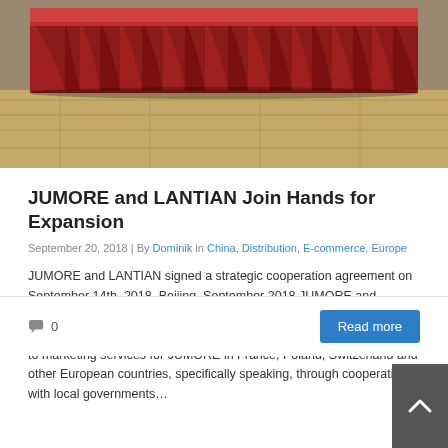[Figure (photo): Photo of a red draped table or stage curtain on a wooden floor background]
JUMORE and LANTIAN Join Hands for Expansion
September 20, 2018 | By Dominik in China, Distribution, E-commerce, Europe
JUMORE and LANTIAN signed a strategic cooperation agreement on September 14th, 2018. Beijing, September 2018 JUMORE and LANTIAN signed a strategic cooperation agreement on September 14th, 2018. According to the agreement, the two sides will be devoted to marketing services for JUMORE in France, Poland, Switzerland and other European countries, specifically speaking, through cooperation with local governments…